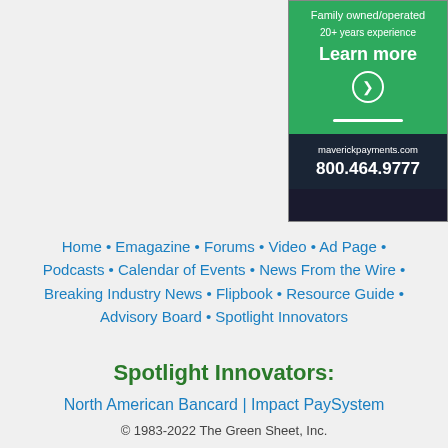[Figure (other): Advertisement for Maverick Payments. Green section with 'Family owned/operated', '20+ years experience', 'Learn more' with arrow button. Dark section with 'maverickpayments.com' and '800.464.9777'.]
Home • Emagazine • Forums • Video • Ad Page • Podcasts • Calendar of Events • News From the Wire • Breaking Industry News • Flipbook • Resource Guide • Advisory Board • Spotlight Innovators
Spotlight Innovators:
North American Bancard | Impact PaySystem
© 1983-2022 The Green Sheet, Inc.